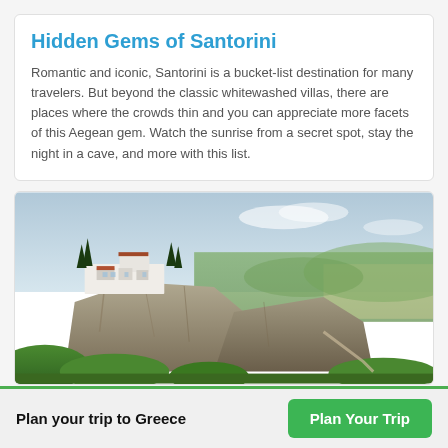Hidden Gems of Santorini
Romantic and iconic, Santorini is a bucket-list destination for many travelers. But beyond the classic whitewashed villas, there are places where the crowds thin and you can appreciate more facets of this Aegean gem. Watch the sunrise from a secret spot, stay the night in a cave, and more with this list.
[Figure (photo): A monastery or large white building perched on dramatic rocky cliffs at Meteora, Greece, with sweeping green valley and town visible in the background under a cloudy sky.]
Plan your trip to Greece
Plan Your Trip